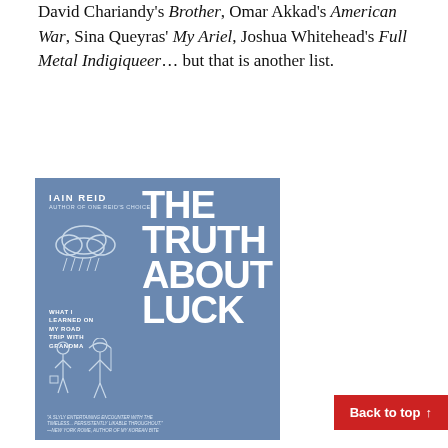David Chariandy's Brother, Omar Akkad's American War, Sina Queyras' My Ariel, Joshua Whitehead's Full Metal Indigiqueer... but that is another list.
[Figure (illustration): Book cover of 'The Truth About Luck: What I Learned on My Road Trip with Grandma' by Iain Reid, author of One Bird's Choice. Blue cover with hand-drawn style lettering, a rain cloud, and two figures (an older woman and a tall man) standing under an umbrella.]
Back to top ↑